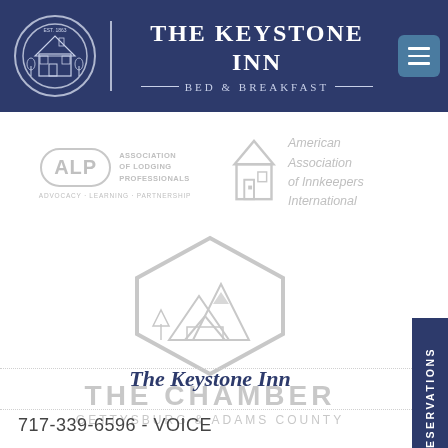THE KEYSTONE INN BED & BREAKFAST
[Figure (logo): ALP - Association of Lodging Professionals logo with tagline ADVOCACY · LEARNING · PARTNERSHIP]
[Figure (logo): American Association of Innkeepers International logo with house icon]
[Figure (logo): The Chamber Gettysburg & Adams County hexagonal logo with mountain/tent illustration]
The Keystone Inn
717-339-6596 - VOICE